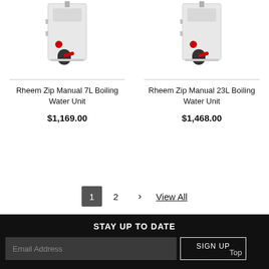[Figure (photo): Rheem Zip Manual 7L Boiling Water Unit product photo — white wall-mounted unit with black tap and red handle]
Rheem Zip Manual 7L Boiling Water Unit
$1,169.00
[Figure (photo): Rheem Zip Manual 23L Boiling Water Unit product photo — white wall-mounted unit with black tap and red handle]
Rheem Zip Manual 23L Boiling Water Unit
$1,468.00
1  2  >  View All
STAY UP TO DATE
Email Address
SIGN UP